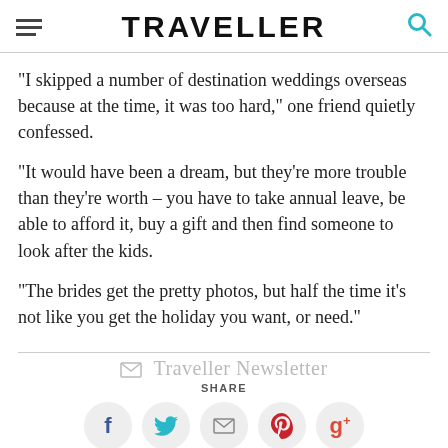TRAVELLER
"I skipped a number of destination weddings overseas because at the time, it was too hard," one friend quietly confessed.
"It would have been a dream, but they're more trouble than they're worth – you have to take annual leave, be able to afford it, buy a gift and then find someone to look after the kids.
"The brides get the pretty photos, but half the time it's not like you get the holiday you want, or need."
Traveller Newsletter
SHARE